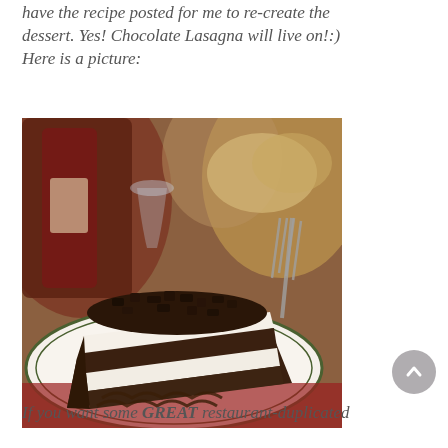have the recipe posted for me to re-create the dessert. Yes! Chocolate Lasagna will live on!:) Here is a picture:
[Figure (photo): A slice of Chocolate Lasagna dessert on a white plate with green rim, showing multiple chocolate cake layers separated by cream filling, topped with chocolate crumbles. A fork is visible in the background, along with a red wine bottle and wine glass.]
If you want some GREAT restaurant-duplicated